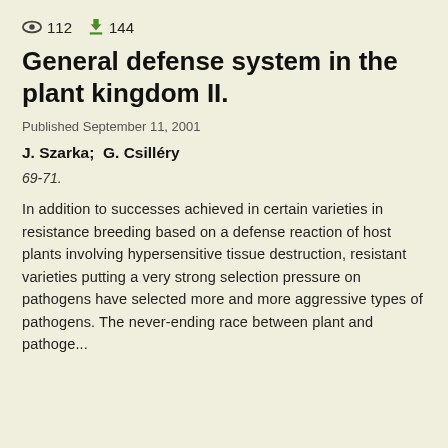112  144
General defense system in the plant kingdom II.
Published September 11, 2001
J. Szarka;  G. Csilléry
69-71.
In addition to successes achieved in certain varieties in resistance breeding based on a defense reaction of host plants involving hypersensitive tissue destruction, resistant varieties putting a very strong selection pressure on pathogens have selected more and more aggressive types of pathogens. The never-ending race between plant and pathoge...